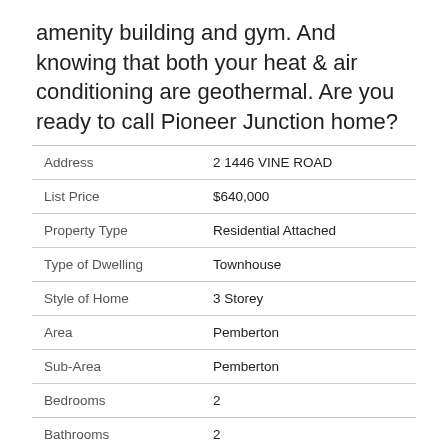amenity building and gym. And knowing that both your heat & air conditioning are geothermal. Are you ready to call Pioneer Junction home?
|  |  |
| --- | --- |
| Address | 2 1446 VINE ROAD |
| List Price | $640,000 |
| Property Type | Residential Attached |
| Type of Dwelling | Townhouse |
| Style of Home | 3 Storey |
| Area | Pemberton |
| Sub-Area | Pemberton |
| Bedrooms | 2 |
| Bathrooms | 2 |
| Floor Area | 1,331 Sq. Ft. |